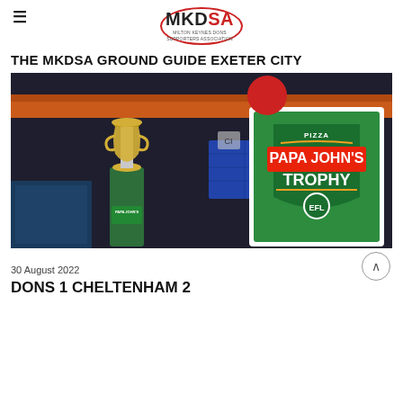MKDSA
THE MKDSA GROUND GUIDE EXETER CITY
[Figure (photo): Papa John's Trophy EFL promotional display with trophy and branded signage at a football stadium, showing the Papa John's Trophy shield logo in green with blue stadium seats in the background.]
30 August 2022
DONS 1 CHELTENHAM 2